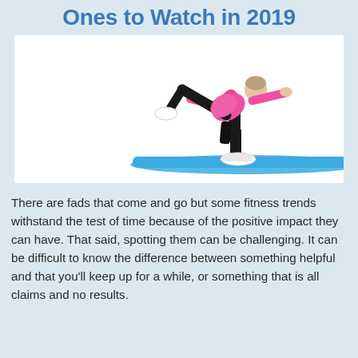Ones to Watch in 2019
[Figure (photo): An older woman in a pink top and black pants performing a balance yoga pose on a blue exercise mat on a white background.]
There are fads that come and go but some fitness trends withstand the test of time because of the positive impact they can have. That said, spotting them can be challenging. It can be difficult to know the difference between something helpful and that you'll keep up for a while, or something that is all claims and no results.